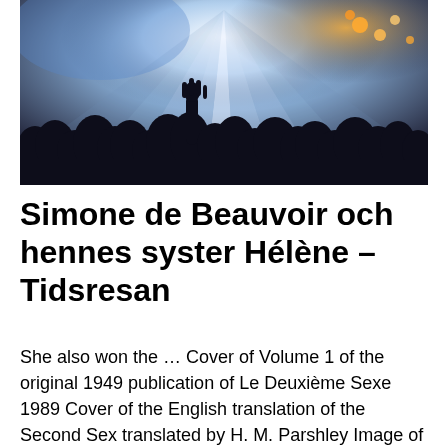[Figure (photo): Concert photo showing silhouetted crowd with raised hands against dramatic blue and white stage lighting beams]
Simone de Beauvoir och hennes syster Hélène – Tidsresan
She also won the … Cover of Volume 1 of the original 1949 publication of Le Deuxième Sexe 1989 Cover of the English translation of the Second Sex translated by H. M. Parshley Image of author of The Second Sex, Simone de Beauvoir in 1967 Extracts from The Second Sex, Simone De Beauvoir. (Vintage Feminism Short Edition) The